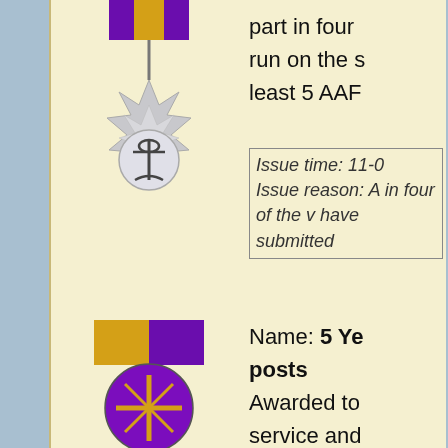[Figure (photo): Military medal with purple and yellow ribbon and silver starburst badge with anchor emblem, partially visible on left side]
part in four run on the s least 5 AAF
| Issue time: 11-0 |
| Issue reason: A in four of the v have submitted |
[Figure (photo): Military medal with purple and yellow ribbon and dark cross-shaped badge with number 5, for 5 year service award]
Name: 5 Ye posts
Awarded to service and
| Issue time: 02-1 |
| Issue reason: A service and 300 |
-- SGN
Contact Us  Sails of
All times are GMT -6. The time now is 11:50.
Powered by vBulletin® Version 4.2.2
Copyright © 2022 vBulletin Solutions, Inc. All rights re
Copyright text test